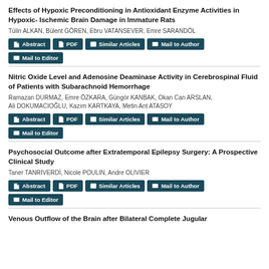Effects of Hypoxic Preconditioning in Antioxidant Enzyme Activities in Hypoxic- Ischemic Brain Damage in Immature Rats
Tülin ALKAN, Bülent GÖREN, Ebru VATANSEVER, Emre SARANDÖL
Nitric Oxide Level and Adenosine Deaminase Activity in Cerebrospinal Fluid of Patients with Subarachnoid Hemorrhage
Ramazan DURMAZ, Emre ÖZKARA, Güngör KANBAK, Okan Can ARSLAN, Ali DOKUMACIOĞLU, Kazım KARTKAYA, Metin Ant ATASOY
Psychosocial Outcome after Extratemporal Epilepsy Surgery: A Prospective Clinical Study
Taner TANRIVERDİ, Nicole POULIN, Andre OLIVIER
Venous Outflow of the Brain after Bilateral Complete Jugular